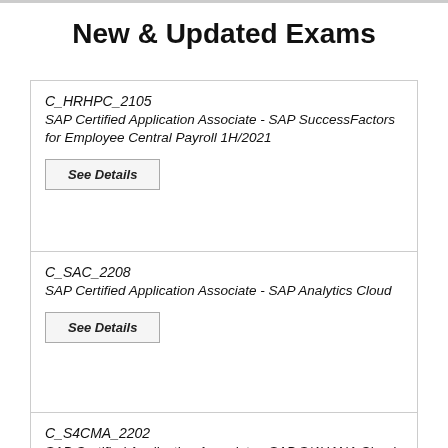New & Updated Exams
C_HRHPC_2105
SAP Certified Application Associate - SAP SuccessFactors for Employee Central Payroll 1H/2021
See Details
C_SAC_2208
SAP Certified Application Associate - SAP Analytics Cloud
See Details
C_S4CMA_2202
SAP Certified Application Associate - SAP S/4HANA Cloud (public) - Manufacturing Implementation Exam
See Details